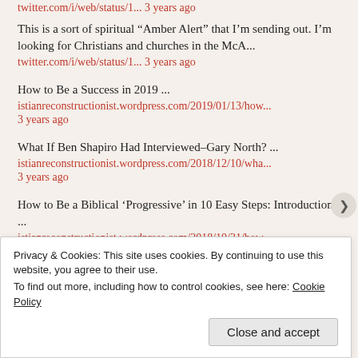twitter.com/i/web/status/1... 3 years ago
This is a sort of spiritual “Amber Alert” that I’m sending out. I’m looking for Christians and churches in the McA...
twitter.com/i/web/status/1... 3 years ago
How to Be a Success in 2019 ...
istianreconstructionist.wordpress.com/2019/01/13/how...
3 years ago
What If Ben Shapiro Had Interviewed–Gary North? ...
istianreconstructionist.wordpress.com/2018/12/10/wha...
3 years ago
How to Be a Biblical ‘Progressive’ in 10 Easy Steps: Introduction ...
istianreconstructionist.wordpress.com/2018/10/21/how...
3 years ago
Privacy & Cookies: This site uses cookies. By continuing to use this website, you agree to their use.
To find out more, including how to control cookies, see here: Cookie Policy
Close and accept